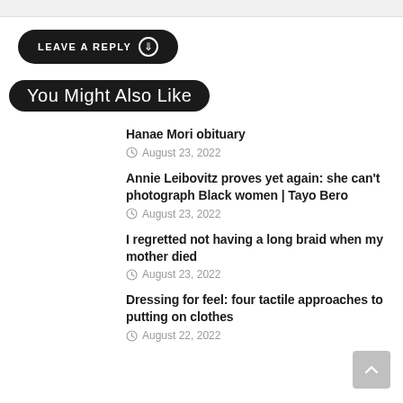LEAVE A REPLY
You Might Also Like
Hanae Mori obituary — August 23, 2022
Annie Leibovitz proves yet again: she can't photograph Black women | Tayo Bero — August 23, 2022
I regretted not having a long braid when my mother died — August 23, 2022
Dressing for feel: four tactile approaches to putting on clothes — August 22, 2022